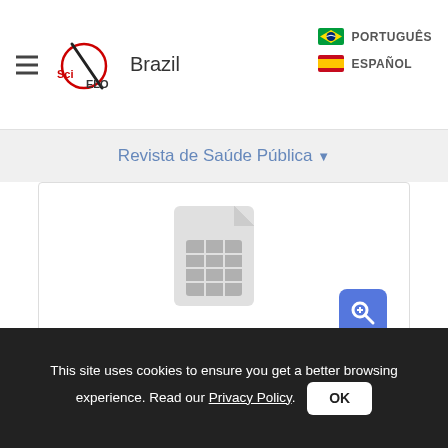SciELO Brazil — PORTUGUÊS / ESPAÑOL
Revista de Saúde Pública
[Figure (screenshot): Document/spreadsheet icon with a blue magnifying glass zoom button in the bottom right corner, inside a white card with border]
RIGHTS OF CHILDREN AND ADOLESCENTS LIVING WITH HIV
How many are there in Brazil living with HIV...
This site uses cookies to ensure you get a better browsing experience. Read our Privacy Policy.